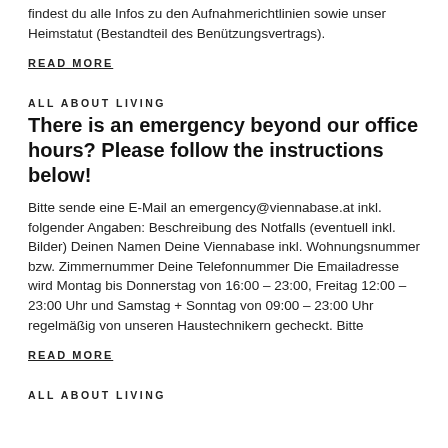findest du alle Infos zu den Aufnahmerichtlinien sowie unser Heimstatut (Bestandteil des Benützungsvertrags).
READ MORE
ALL ABOUT LIVING
There is an emergency beyond our office hours? Please follow the instructions below!
Bitte sende eine E-Mail an emergency@viennabase.at inkl. folgender Angaben: Beschreibung des Notfalls (eventuell inkl. Bilder) Deinen Namen Deine Viennabase inkl. Wohnungsnummer bzw. Zimmernummer Deine Telefonnummer Die Emailadresse wird Montag bis Donnerstag von 16:00 – 23:00, Freitag 12:00 – 23:00 Uhr und Samstag + Sonntag von 09:00 – 23:00 Uhr regelmäßig von unseren Haustechnikern gecheckt. Bitte
READ MORE
ALL ABOUT LIVING